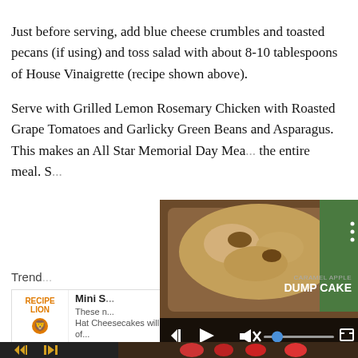Just before serving, add blue cheese crumbles and toasted pecans (if using) and toss salad with about 8-10 tablespoons of House Vinaigrette (recipe shown above).
Serve with Grilled Lemon Rosemary Chicken with Roasted Grape Tomatoes and Garlicky Green Beans and Asparagus. This makes an All Star Memorial Day Meal... the entire meal. S...
Trend...
[Figure (screenshot): Video player overlay showing a Caramel Apple Dump Cake dish with play button, skip back button, mute icon, progress bar with blue circle, and fullscreen button. Text reads CARAMEL APPLE DUMP CAKE.]
[Figure (screenshot): Recipe Lion branded card showing 'Mini S... Hat Cheesecakes will be the topic of...' with their orange logo and lion icon.]
[Figure (screenshot): Bottom image strip showing Mini Santa Hat Cheesecakes with red and white decorations, alongside a media player control strip with skip-back and play/pause buttons.]